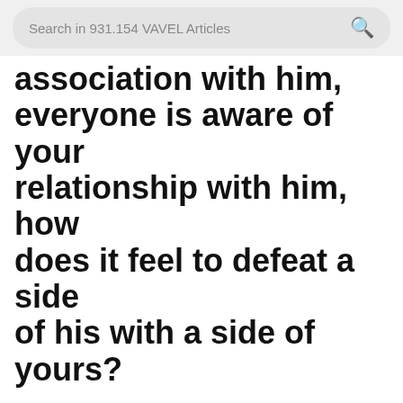Search in 931.154 VAVEL Articles
association with him, everyone is aware of your relationship with him, how does it feel to defeat a side of his with a side of yours?
It was the first time that a side managed by Bielsa had beaten a team managed by Guardiola and it's a well known fact that Bielsa is admired by Pep Guardiola for being a top coach in the game.
Bielsa explained how it felt beating a side managed by Guardiola with a side of yours.